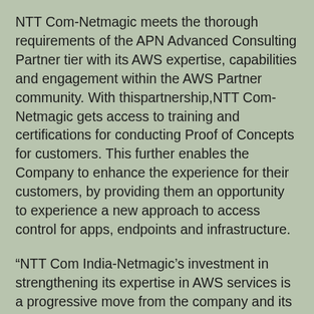NTT Com-Netmagic meets the thorough requirements of the APN Advanced Consulting Partner tier with its AWS expertise, capabilities and engagement within the AWS Partner community. With thispartnership,NTT Com-Netmagic gets access to training and certifications for conducting Proof of Concepts for customers. This further enables the Company to enhance the experience for their customers, by providing them an opportunity to experience a new approach to access control for apps, endpoints and infrastructure.
“NTT Com India-Netmagic’s investment in strengthening its expertise in AWS services is a progressive move from the company and its leaders. It gives their customers the ability to confidently explore the benefits of moving to a cloud, and continue to work through a trusted provider across all facets of the transition whether it’s from a hybrid or on-premises architecture,” said Navdeep Manaktala, Head of Business Development, Amazon Internet Services Private Limited.
“We are extremely pleased to be recognized as an Advanced Consulting Partner in the APN. This achievement is a reflection of NTT Com-Netmagic’s continued effort to help